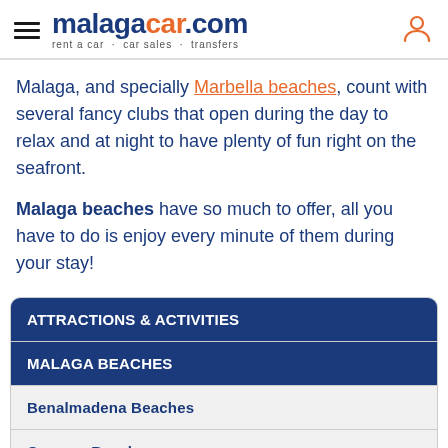malagacar.com — rent a car · car sales · transfers
Malaga, and specially Marbella beaches, count with several fancy clubs that open during the day to relax and at night to have plenty of fun right on the seafront.
Malaga beaches have so much to offer, all you have to do is enjoy every minute of them during your stay!
ATTRACTIONS & ACTIVITIES
MALAGA BEACHES
Benalmadena Beaches
Casares Beaches
Estepona Beaches
Fuengirola Beaches